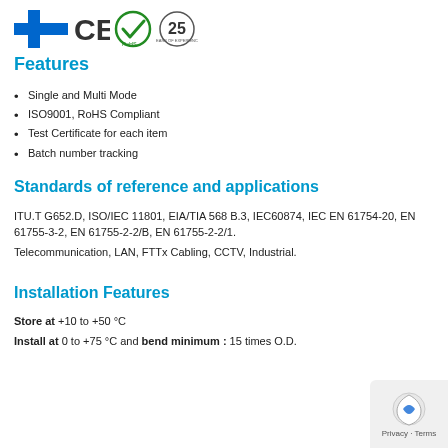[Figure (logo): Certification logos: Finnish flag plus sign, CE mark, RoHS checkmark, 25-year anniversary badge]
Features
Single and Multi Mode
ISO9001, RoHS Compliant
Test Certificate for each item
Batch number tracking
Standards of reference and applications
ITU.T G652.D, ISO/IEC 11801, EIA/TIA 568 B.3, IEC60874, IEC EN 61754-20, EN 61755-3-2, EN 61755-2-2/B, EN 61755-2-2/1.
Telecommunication, LAN, FTTx Cabling, CCTV, Industrial.
Installation Features
Store at  +10 to +50 °C
Install at  0 to +75 °C and bend minimum : 15 times O.D.